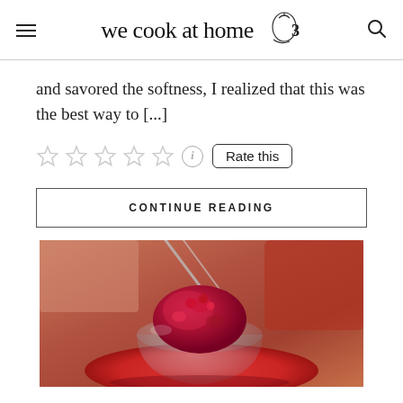we cook at home
and savored the softness, I realized that this was the best way to [...]
[Figure (other): Five empty star rating icons followed by an info icon and a 'Rate this' button]
CONTINUE READING
[Figure (photo): A close-up photo of a raspberry sorbet or granita served in a glass bowl on a red plate, with a spoon and other dishes blurred in the background]